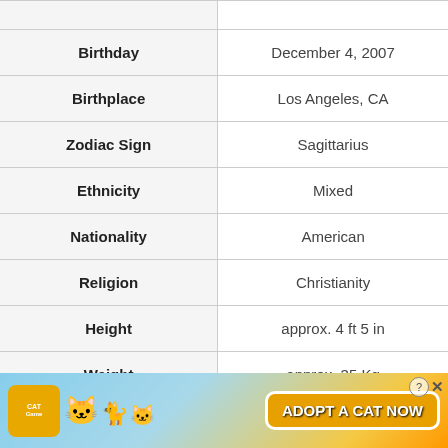| Attribute | Value |
| --- | --- |
| Birthday | December 4, 2007 |
| Birthplace | Los Angeles, CA |
| Zodiac Sign | Sagittarius |
| Ethnicity | Mixed |
| Nationality | American |
| Religion | Christianity |
| Height | approx. 4 ft 5 in |
| Weight | approx. 35 Kg |
| Body Measurements | approx. 30-24-32 inches |
[Figure (illustration): Advertisement banner for a mobile game called 'Cat Game' showing cartoon cats and text 'ADOPT A CAT NOW' with a close button.]